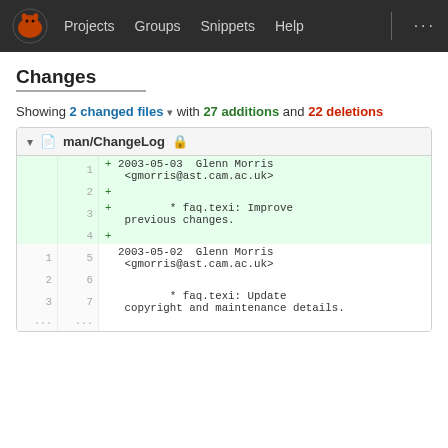Projects  Groups  Snippets  Help  ...
Changes
Showing 2 changed files with 27 additions and 22 deletions
| old | new | code |
| --- | --- | --- |
|  | 1 | + 2003-05-03  Glenn Morris <gmorris@ast.cam.ac.uk> |
|  | 2 | + |
|  | 3 | +         * faq.texi: Improve previous changes. |
|  | 4 | + |
| 1 | 5 |   2003-05-02  Glenn Morris <gmorris@ast.cam.ac.uk> |
| 2 | 6 |  |
| 3 | 7 |           * faq.texi: Update copyright and maintenance details. |